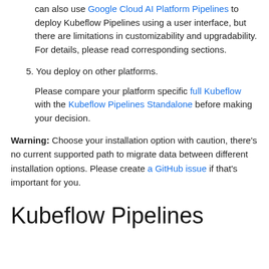can also use Google Cloud AI Platform Pipelines to deploy Kubeflow Pipelines using a user interface, but there are limitations in customizability and upgradability. For details, please read corresponding sections.
5. You deploy on other platforms.
Please compare your platform specific full Kubeflow with the Kubeflow Pipelines Standalone before making your decision.
Warning: Choose your installation option with caution, there's no current supported path to migrate data between different installation options. Please create a GitHub issue if that's important for you.
Kubeflow Pipelines